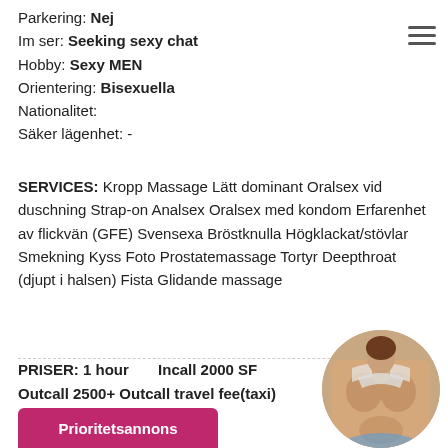Parkering: Nej
Im ser: Seeking sexy chat
Hobby: Sexy MEN
Orientering: Bisexuella
Nationalitet:
Säker lägenhet: -
SERVICES: Kropp Massage Lätt dominant Oralsex vid duschning Strap-on Analsex Oralsex med kondom Erfarenhet av flickvän (GFE) Svensexa Bröstknulla Högklackat/stövlar Smekning Kyss Foto Prostatemassage Tortyr Deepthroat (djupt i halsen) Fista Glidande massage
PRISER: 1 hour   Incall 2000 SF Outcall 2500+ Outcall travel fee(taxi)
[Figure (photo): Circular cropped photo of a woman]
Prioritetsannons